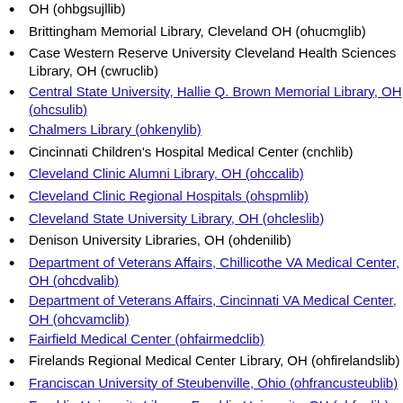OH (ohbgsujllib)
Brittingham Memorial Library, Cleveland OH (ohucmglib)
Case Western Reserve University Cleveland Health Sciences Library, OH (cwruclib)
Central State University, Hallie Q. Brown Memorial Library, OH (ohcsulib)
Chalmers Library (ohkenylib)
Cincinnati Children's Hospital Medical Center (cnchlib)
Cleveland Clinic Alumni Library, OH (ohccalib)
Cleveland Clinic Regional Hospitals (ohspmlib)
Cleveland State University Library, OH (ohcleslib)
Denison University Libraries, OH (ohdenilib)
Department of Veterans Affairs, Chillicothe VA Medical Center, OH (ohcdvalib)
Department of Veterans Affairs, Cincinnati VA Medical Center, OH (ohcvamclib)
Fairfield Medical Center (ohfairmedclib)
Firelands Regional Medical Center Library, OH (ohfirelandslib)
Franciscan University of Steubenville, Ohio (ohfrancusteublib)
Franklin University Library, Franklin University, OH (ohfunlib)
Good Samaritan Hospital, Cincinnati, OH (ohugomlib)